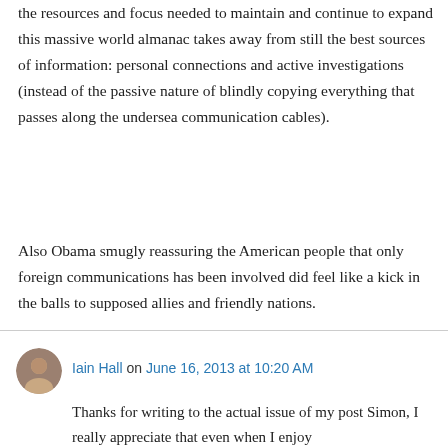the resources and focus needed to maintain and continue to expand this massive world almanac takes away from still the best sources of information: personal connections and active investigations (instead of the passive nature of blindly copying everything that passes along the undersea communication cables).
Also Obama smugly reassuring the American people that only foreign communications has been involved did feel like a kick in the balls to supposed allies and friendly nations.
Iain Hall on June 16, 2013 at 10:20 AM
Thanks for writing to the actual issue of my post Simon, I really appreciate that even when I enjoy...